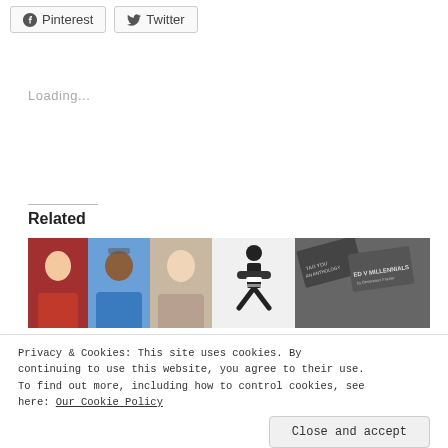[Figure (screenshot): Pinterest and Twitter social sharing buttons]
Loading...
Related
[Figure (photo): Three person photos side by side, a figure icon, and a book cover image]
Privacy & Cookies: This site uses cookies. By continuing to use this website, you agree to their use. To find out more, including how to control cookies, see here: Our Cookie Policy
[Figure (screenshot): Close and accept button for cookie banner]
[Figure (photo): Partial bottom row of related images]